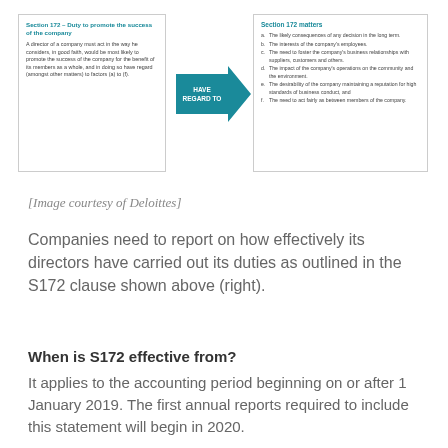[Figure (infographic): Diagram showing Section 172 – Duty to promote the success of the company (left box) with an arrow labeled HAVE REGARD TO pointing to Section 172 matters (right box listing factors a–f).]
[Image courtesy of Deloittes]
Companies need to report on how effectively its directors have carried out its duties as outlined in the S172 clause shown above (right).
When is S172 effective from?
It applies to the accounting period beginning on or after 1 January 2019. The first annual reports required to include this statement will begin in 2020.